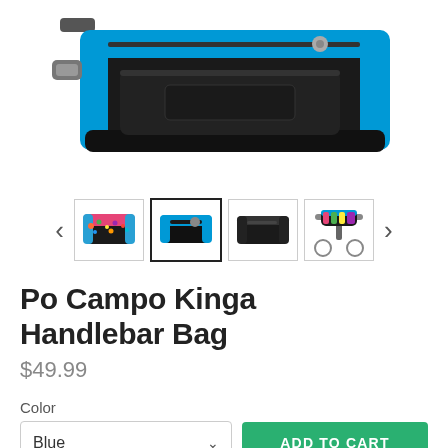[Figure (photo): Main product photo of blue Po Campo Kinga Handlebar Bag, viewed from top/side angle showing blue and black cycling handlebar bag]
[Figure (photo): Thumbnail carousel with left arrow, four product thumbnail images (colorful print, blue active selected, black, mounted on bike), and right arrow]
Po Campo Kinga Handlebar Bag
$49.99
Color
Blue
ADD TO CART